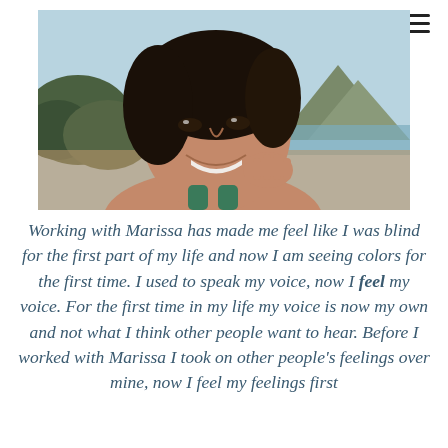[Figure (photo): Smiling Asian woman with dark hair resting her chin on her hand, photographed outdoors with a beach, ocean, and mountain (Diamond Head) in the background under a blue sky.]
Working with Marissa has made me feel like I was blind for the first part of my life and now I am seeing colors for the first time. I used to speak my voice, now I feel my voice. For the first time in my life my voice is now my own and not what I think other people want to hear. Before I worked with Marissa I took on other people's feelings over mine, now I feel my feelings first